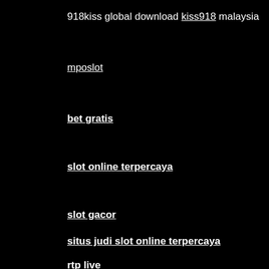918kiss global download kiss918 malaysia
mposlot
bet gratis
slot online terpercaya
slot gacor
situs judi slot online terpercaya
rtp live